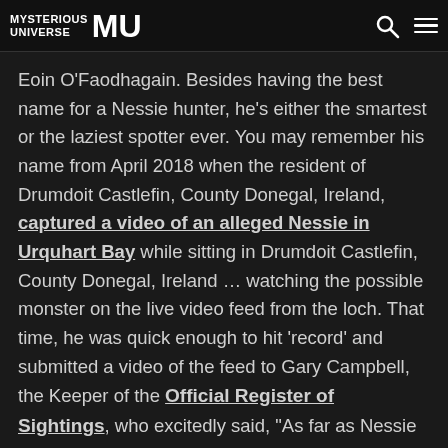Mysterious Universe MU
Eoin O'Faodhagain. Besides having the best name for a Nessie hunter, he's either the smartest or the laziest spotter ever. You may remember his name from April 2018 when the resident of Drumdoit Castlefin, County Donegal, Ireland, captured a video of an alleged Nessie in Urquhart Bay while sitting in Drumdoit Castlefin, County Donegal, Ireland … watching the possible monster on the live video feed from the loch. That time, he was quick enough to hit 'record' and submitted a video of the feed to Gary Campbell, the Keeper of the Official Register of Sightings, who excitedly said, "As far as Nessie footage goes this is a feature film." He was